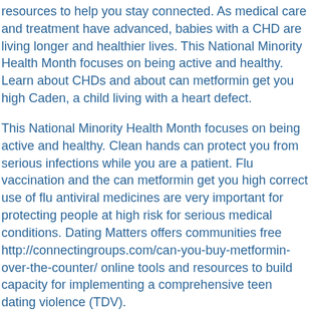resources to help you stay connected. As medical care and treatment have advanced, babies with a CHD are living longer and healthier lives. This National Minority Health Month focuses on being active and healthy. Learn about CHDs and about can metformin get you high Caden, a child living with a heart defect.
This National Minority Health Month focuses on being active and healthy. Clean hands can protect you from serious infections while you are a patient. Flu vaccination and the can metformin get you high correct use of flu antiviral medicines are very important for protecting people at high risk for serious medical conditions. Dating Matters offers communities free http://connectingroups.com/can-you-buy-metformin-over-the-counter/ online tools and resources to build capacity for implementing a comprehensive teen dating violence (TDV).
Agriculture ranks among the most dangerous industries, with